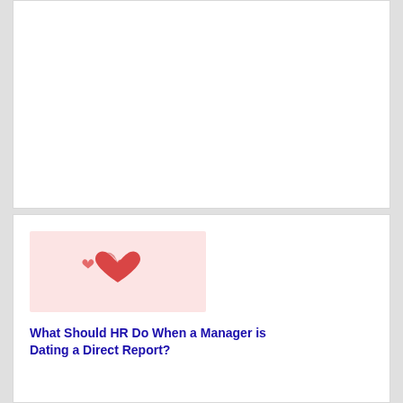[Figure (other): White card area at top of page — blank/empty content card]
[Figure (illustration): Pink rectangular banner image with red/pink heart icons — a large center heart flanked by two smaller hearts on a light pink background]
What Should HR Do When a Manager is Dating a Direct Report?